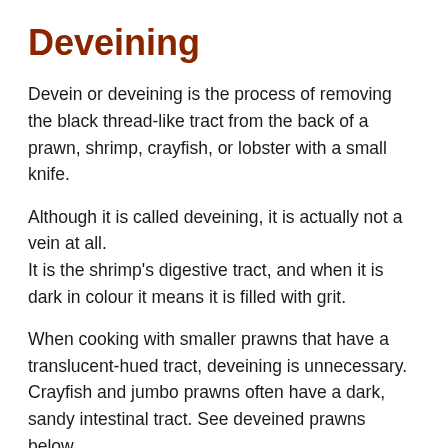Deveining
Devein or deveining is the process of removing the black thread-like tract from the back of a prawn, shrimp, crayfish, or lobster with a small knife.
Although it is called deveining, it is actually not a vein at all.
It is the shrimp's digestive tract, and when it is dark in colour it means it is filled with grit.
When cooking with smaller prawns that have a translucent-hued tract, deveining is unnecessary.
Crayfish and jumbo prawns often have a dark, sandy intestinal tract. See deveined prawns below.
You won't fall ill from eating this if these aren't removed,